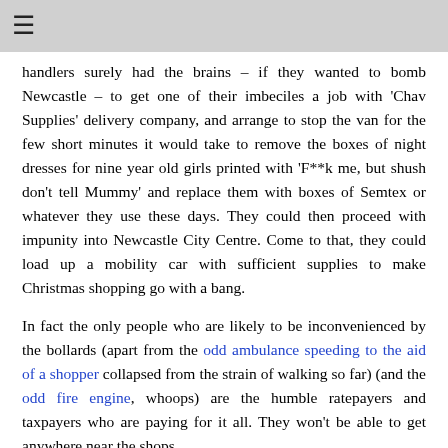≡
handlers surely had the brains – if they wanted to bomb Newcastle – to get one of their imbeciles a job with 'Chav Supplies' delivery company, and arrange to stop the van for the few short minutes it would take to remove the boxes of night dresses for nine year old girls printed with 'F**k me, but shush don't tell Mummy' and replace them with boxes of Semtex or whatever they use these days. They could then proceed with impunity into Newcastle City Centre. Come to that, they could load up a mobility car with sufficient supplies to make Christmas shopping go with a bang.
In fact the only people who are likely to be inconvenienced by the bollards (apart from the odd ambulance speeding to the aid of a shopper collapsed from the strain of walking so far) (and the odd fire engine, whoops) are the humble ratepayers and taxpayers who are paying for it all. They won't be able to get anywhere near the shops.
Indeed, if they do happen to be bumbling along behind the bus, with their forward view obscured, unaware that the bollards have sunk to allow the bus to pass – and they hit the bollard, the councils are